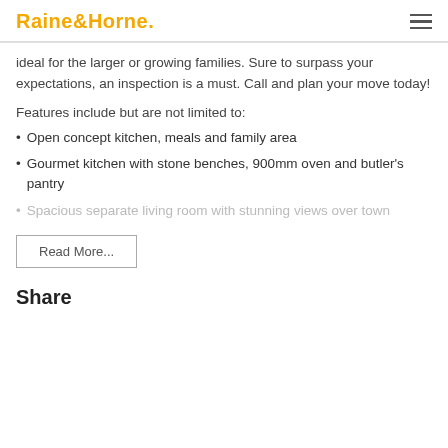Raine&Horne.
ideal for the larger or growing families. Sure to surpass your expectations, an inspection is a must. Call and plan your move today!
Features include but are not limited to:
Open concept kitchen, meals and family area
Gourmet kitchen with stone benches, 900mm oven and butler's pantry
Spacious separate living room with stunning views over town
Read More...
Share